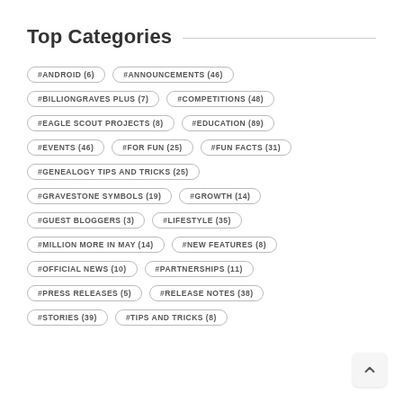Top Categories
#ANDROID (6)
#ANNOUNCEMENTS (46)
#BILLIONGRAVES PLUS (7)
#COMPETITIONS (48)
#EAGLE SCOUT PROJECTS (8)
#EDUCATION (89)
#EVENTS (46)
#FOR FUN (25)
#FUN FACTS (31)
#GENEALOGY TIPS AND TRICKS (25)
#GRAVESTONE SYMBOLS (19)
#GROWTH (14)
#GUEST BLOGGERS (3)
#LIFESTYLE (35)
#MILLION MORE IN MAY (14)
#NEW FEATURES (8)
#OFFICIAL NEWS (10)
#PARTNERSHIPS (11)
#PRESS RELEASES (5)
#RELEASE NOTES (38)
#STORIES (39)
#TIPS AND TRICKS (8)